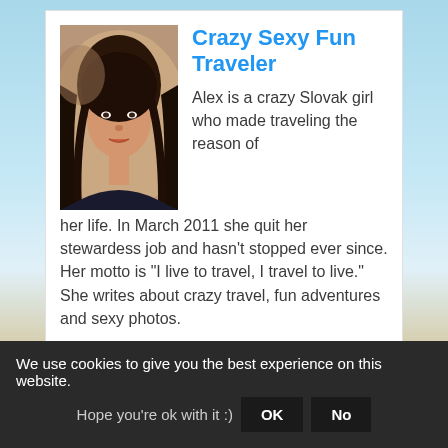[Figure (photo): Profile photo of a young woman with dark hair, appearing to pose outdoors]
Crazy Sexy Fun Traveler
Alex is a crazy Slovak girl who made traveling the reason of her life. In March 2011 she quit her stewardess job and hasn't stopped ever since. Her motto is "I live to travel, I travel to live." She writes about crazy travel, fun adventures and sexy photos.
How to be FIT when
We use cookies to give you the best experience on this website. Hope you're ok with it :)